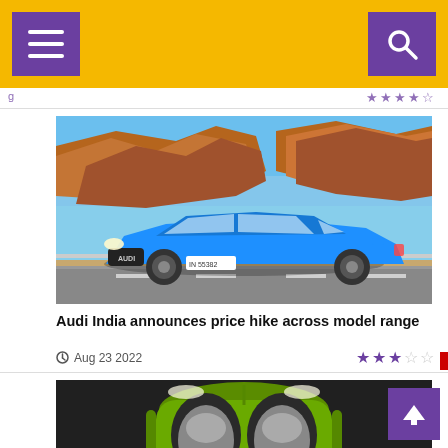Navigation bar with menu and search buttons
[Figure (photo): Blue Audi A5 Sportback driving on a road with red rocky terrain in the background under a blue sky]
Audi India announces price hike across model range
Aug 23 2022
[Figure (photo): Green sports car (Porsche/similar) viewed from above against a dark background, showing open top with grey interior seats]